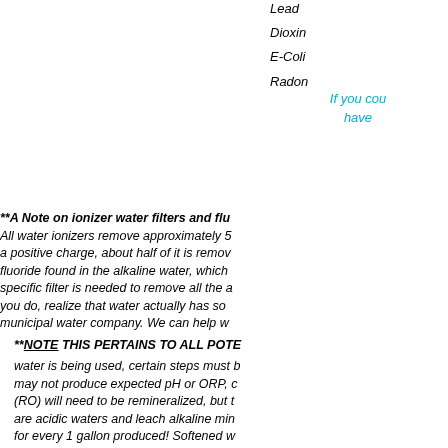Lead
Dioxin
E-Coli
Radon
If you cou have
**A Note on ionizer water filters and flu All water ionizers remove approximately 5 a positive charge, about half of it is remov fluoride found in the alkaline water, which specific filter is needed to remove all the a you do, realize that water actually has so municipal water company. We can help w
**NOTE THIS PERTAINS TO ALL POTE water is being used, certain steps must b may not produce expected pH or ORP, c (RO) will need to be remineralized, but t are acidic waters and leach alkaline min for every 1 gallon produced! Softened w cause the ionizer to overheat.
Additionally, pH and ORP results vary ba variables include pH, ORP, TDS, minera water sources.